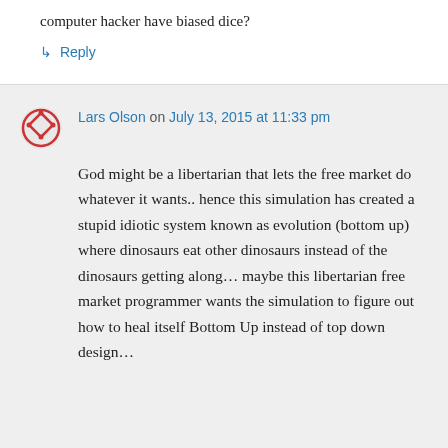computer hacker have biased dice?
↳ Reply
Lars Olson on July 13, 2015 at 11:33 pm
God might be a libertarian that lets the free market do whatever it wants.. hence this simulation has created a stupid idiotic system known as evolution (bottom up) where dinosaurs eat other dinosaurs instead of the dinosaurs getting along… maybe this libertarian free market programmer wants the simulation to figure out how to heal itself Bottom Up instead of top down design…